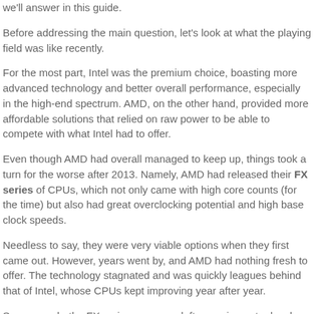we'll answer in this guide.
Before addressing the main question, let's look at what the playing field was like recently.
For the most part, Intel was the premium choice, boasting more advanced technology and better overall performance, especially in the high-end spectrum. AMD, on the other hand, provided more affordable solutions that relied on raw power to be able to compete with what Intel had to offer.
Even though AMD had overall managed to keep up, things took a turn for the worse after 2013. Namely, AMD had released their FX series of CPUs, which not only came with high core counts (for the time) but also had great overclocking potential and high base clock speeds.
Needless to say, they were very viable options when they first came out. However, years went by, and AMD had nothing fresh to offer. The technology stagnated and was quickly leagues behind that of Intel, whose CPUs kept improving year after year.
Sure enough, the FX series was soon left powering entry-level and, occasionally, some mid-range gaming rigs. In contrast, the AMD A Serie...